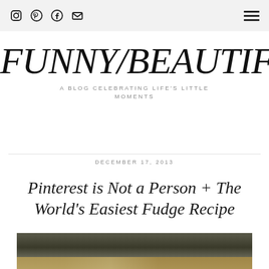Social icons: Instagram, Pinterest, Facebook, Email | Hamburger menu
FUNNY/BEAUTIFUL
A BLOG CELEBRATING LIFE'S LITTLE MOMENTS
DECEMBER 17, 2013
Pinterest is Not a Person + The World's Easiest Fudge Recipe
[Figure (photo): Close-up photo of what appears to be fudge or a food item, dark and blurred background with gold/caramel tones at bottom]